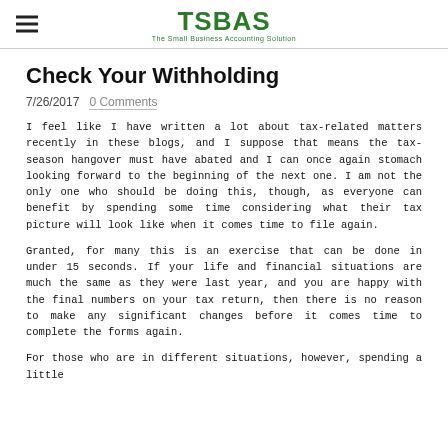TSBAS – The Small Business Accounting Solution
Check Your Withholding
7/26/2017  0 Comments
I feel like I have written a lot about tax-related matters recently in these blogs, and I suppose that means the tax-season hangover must have abated and I can once again stomach looking forward to the beginning of the next one. I am not the only one who should be doing this, though, as everyone can benefit by spending some time considering what their tax picture will look like when it comes time to file again.
Granted, for many this is an exercise that can be done in under 15 seconds. If your life and financial situations are much the same as they were last year, and you are happy with the final numbers on your tax return, then there is no reason to make any significant changes before it comes time to complete the forms again.
For those who are in different situations, however, spending a little